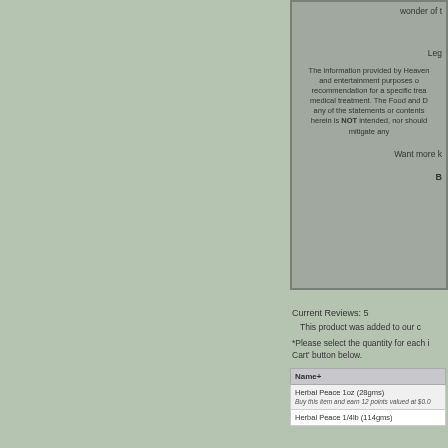wonder of t
Leg
The information provided by Heaven and entertainment purposes o recommendation for a specific trea medical treatment. The Food and D any of the statements or contents herein is NOT intended, nor should mitigate any
Want more k
B
Current Reviews: 5
This product was added to our c
*Please select the quantity for each i Cart' button below.
| Name+ |
| --- |
| Herbal Peace 1oz (28gms)
Buy this item and earn 12 points valued at $0.0 |
| Herbal Peace 1/4lb (114gms) |